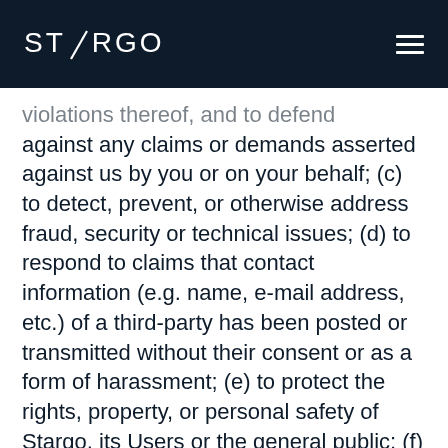STARGO
violations thereof, and to defend against any claims or demands asserted against us by you or on your behalf; (c) to detect, prevent, or otherwise address fraud, security or technical issues; (d) to respond to claims that contact information (e.g. name, e-mail address, etc.) of a third-party has been posted or transmitted without their consent or as a form of harassment; (e) to protect the rights, property, or personal safety of Stargo, its Users or the general public; (f) by virtue of